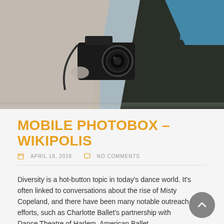[Figure (photo): A person holding a camera up to their eye, photographed from close range showing arms, hands gripping the camera, against a mixed background with blue and neutral tones.]
MOBILE PHOTOBOX – WIKIPOLIS
APRIL 18, 2018   NO COMMENTS
Diversity is a hot-button topic in today's dance world. It's often linked to conversations about the rise of Misty Copeland, and there have been many notable outreach efforts, such as Charlotte Ballet's partnership with Dance Theatre of Harlem, American Ballet